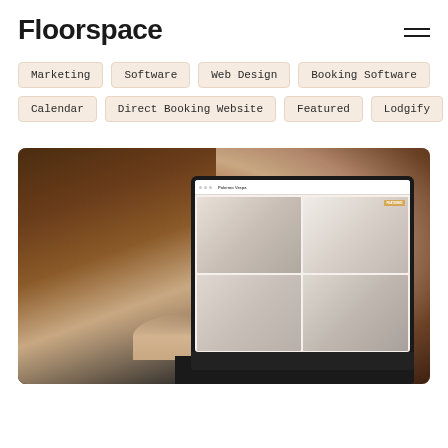Floorspace
Marketing
Software
Web Design
Booking Software
Calendar
Direct Booking Website
Featured
Lodgify
[Figure (photo): Person viewed from behind looking at a laptop screen displaying a property rental website with interior photos, sitting at a table in a warm-toned environment]